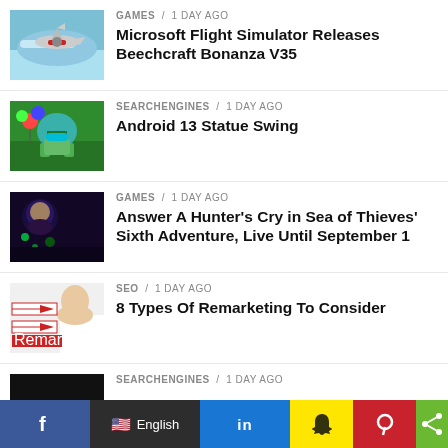GAMES / 1 day ago — Microsoft Flight Simulator Releases Beechcraft Bonanza V35
SEARCHENGINES / 1 day ago — Android 13 Statue Swing
GAMES / 1 day ago — Answer A Hunter's Cry in Sea of Thieves' Sixth Adventure, Live Until September 1
SEO / 1 day ago — 8 Types Of Remarketing To Consider
SEARCHENGINES / 1 day ago
[Figure (screenshot): Social sharing bar with Facebook, English language selector, LinkedIn, Snapchat, Pinterest, and share icons]